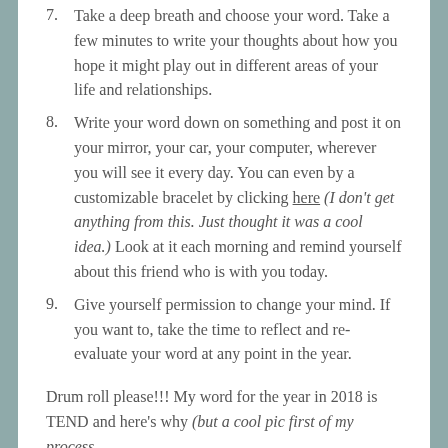7. Take a deep breath and choose your word. Take a few minutes to write your thoughts about how you hope it might play out in different areas of your life and relationships.
8. Write your word down on something and post it on your mirror, your car, your computer, wherever you will see it every day. You can even by a customizable bracelet by clicking here (I don’t get anything from this. Just thought it was a cool idea.) Look at it each morning and remind yourself about this friend who is with you today.
9. Give yourself permission to change your mind. If you want to, take the time to reflect and re-evaluate your word at any point in the year.
Drum roll please!!! My word for the year in 2018 is TEND and here’s why (but a cool pic first of my process...